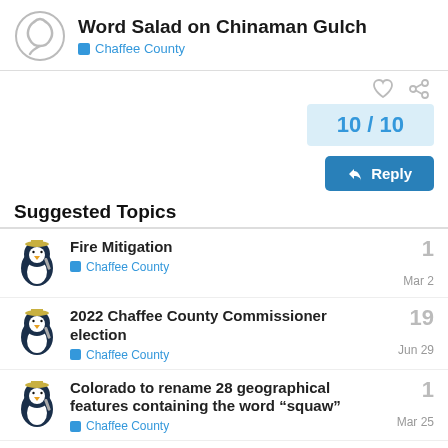Word Salad on Chinaman Gulch
Chaffee County
10 / 10
Suggested Topics
Fire Mitigation
Chaffee County
1
Mar 2
2022 Chaffee County Commissioner election
Chaffee County
19
Jun 29
Colorado to rename 28 geographical features containing the word “squaw”
Chaffee County
1
Mar 25